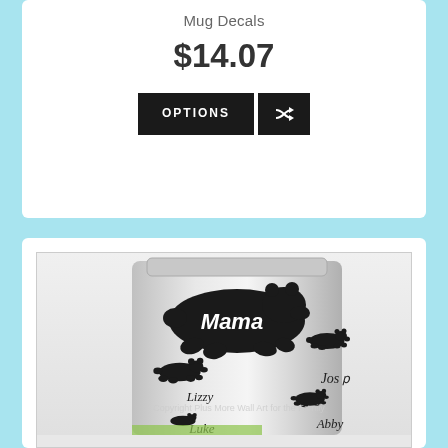Mug Decals
$14.07
[Figure (screenshot): Two buttons: OPTIONS and a shuffle/random icon button, both dark/black background with white text]
[Figure (photo): A stainless steel tumbler/mug with black bear family decals. A large mama bear with white script text 'Mama' on its body, and three smaller bear cubs labeled 'Lizzy', 'Josp', and 'Abby'. A fourth cub labeled 'Luke' is partially visible at the bottom. A watermark reads 'Copyright Plus More Wall Art for the Family'.]